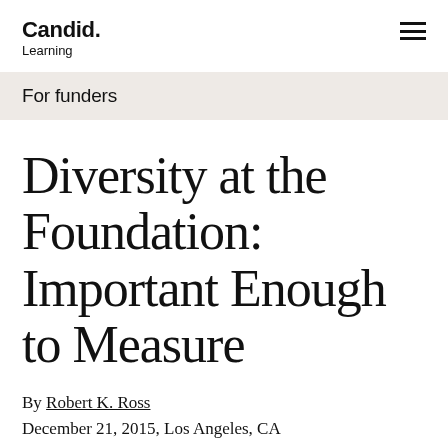Candid. Learning
For funders
Diversity at the Foundation: Important Enough to Measure
By Robert K. Ross
December 21, 2015, Los Angeles, CA